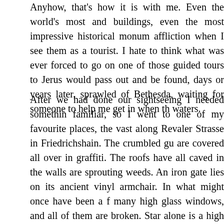Anyhow, that's how it is with me. Even the world's most and buildings, even the most impressive historical monum affliction when I see them as a tourist. I hate to think what was ever forced to go on one of those guided tours to Jerus would pass out and be found, days or years later, sprawled of Bethesda, waiting for someone to help me get in when th waters.
After we had done our sightseeing I needed somethin familiar, so I went to one of my favourite places, the vast along Revaler Strasse in Friedrichshain. The crumbled gu are covered all over in graffiti. The roofs have all caved in the walls are sprouting weeds. An iron gate lies on its ancient vinyl armchair. In what might once have been a f many high glass windows, and all of them are broken. Star alone is a high brick facade; someone has etched a huge lif shipping container stands propped up on makeshift stilts might tumble down at any moment; it looks as if it has